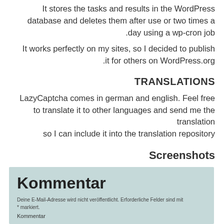It stores the tasks and results in the WordPress database and deletes them after use or two times a day using a wp-cron job.
It works perfectly on my sites, so I decided to publish it for others on WordPress.org.
TRANSLATIONS
LazyCaptcha comes in german and english. Feel free to translate it to other languages and send me the translation so I can include it into the translation repository
Screenshots
Kommentar
Deine E-Mail-Adresse wird nicht veröffentlicht. Erforderliche Felder sind mit * markiert.
Kommentar